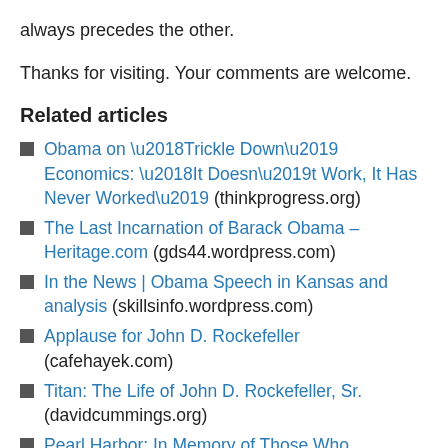always precedes the other.
Thanks for visiting. Your comments are welcome.
Related articles
Obama on ‘Trickle Down’ Economics: ‘It Doesn’t Work, It Has Never Worked’ (thinkprogress.org)
The Last Incarnation of Barack Obama – Heritage.com (gds44.wordpress.com)
In the News | Obama Speech in Kansas and analysis (skillsinfo.wordpress.com)
Applause for John D. Rockefeller (cafehayek.com)
Titan: The Life of John D. Rockefeller, Sr. (davidcummings.org)
Pearl Harbor: In Memory of Those Who Sacrificed All On December 7, 1941 (jroycroft.wordpress.com)
Pearl Harbor Attack: A “Day That Will Live in Infamy”